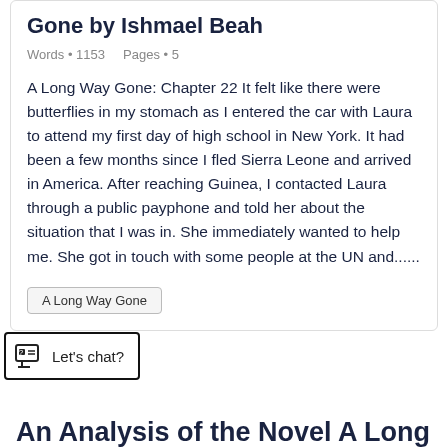Gone by Ishmael Beah
Words • 1153    Pages • 5
A Long Way Gone: Chapter 22 It felt like there were butterflies in my stomach as I entered the car with Laura to attend my first day of high school in New York. It had been a few months since I fled Sierra Leone and arrived in America. After reaching Guinea, I contacted Laura through a public payphone and told her about the situation that I was in. She immediately wanted to help me. She got in touch with some people at the UN and......
A Long Way Gone
Let's chat?
An Analysis of the Novel A Long